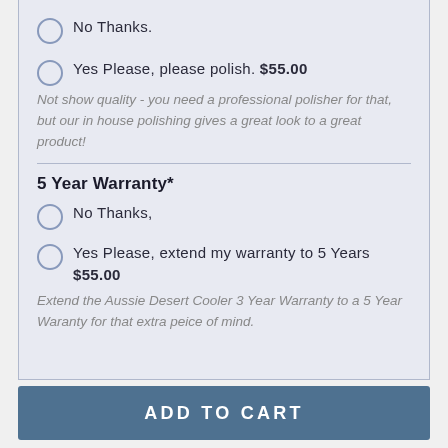No Thanks.
Yes Please, please polish. $55.00
Not show quality - you need a professional polisher for that, but our in house polishing gives a great look to a great product!
5 Year Warranty*
No Thanks,
Yes Please, extend my warranty to 5 Years $55.00
Extend the Aussie Desert Cooler 3 Year Warranty to a 5 Year Waranty for that extra peice of mind.
ADD TO CART